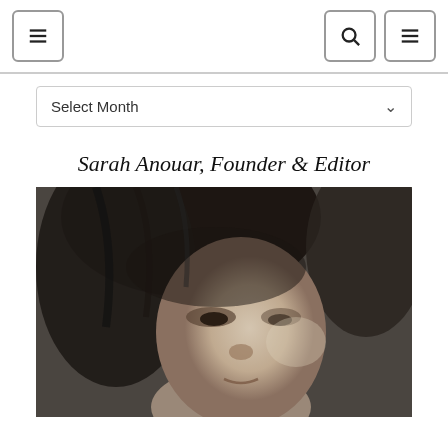Navigation header with menu, search, and toggle buttons
Select Month
Sarah Anouar, Founder & Editor
[Figure (photo): Black and white close-up portrait photo of Sarah Anouar, a woman with dark curly hair, showing her face and slight smile, cropped from above the forehead to below the chin.]